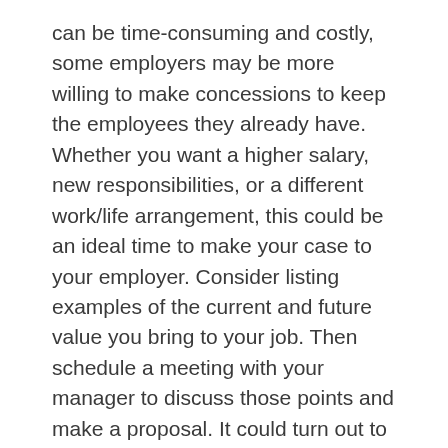can be time-consuming and costly, some employers may be more willing to make concessions to keep the employees they already have. Whether you want a higher salary, new responsibilities, or a different work/life arrangement, this could be an ideal time to make your case to your employer. Consider listing examples of the current and future value you bring to your job. Then schedule a meeting with your manager to discuss those points and make a proposal. It could turn out to be a win-win proposition.
1–2) U.S. Bureau of Labor Statistics, 2022
This information is not intended as tax, legal, investment, or retirement advice or